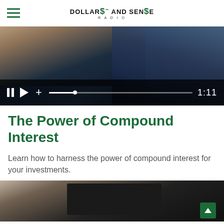Dollars and Sense Radio — navigation header with logo
[Figure (screenshot): Video player showing a person holding a device, with playback controls: pause, play, plus, progress bar, and time stamp 1:11]
The Power of Compound Interest
Learn how to harness the power of compound interest for your investments.
[Figure (photo): Partial view of a person with a tablet device, dark tones, with a green scroll-to-top button in the bottom right corner]